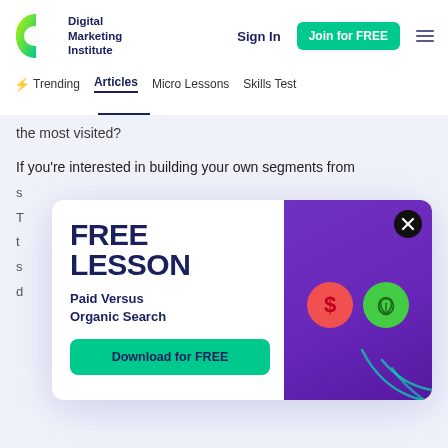Digital Marketing Institute — Sign In | Join for FREE | Trending | Articles | Micro Lessons | Skills Test
the most visited?
If you're interested in building your own segments from
[Figure (infographic): Modal popup advertisement for a free lesson titled 'FREE LESSON: Paid Versus Organic Search' with a Download for FREE green button, and a purple card panel on the right showing a red dollar-sign circle and a green leaf circle icon. A black close (X) button is in the top right of the modal.]